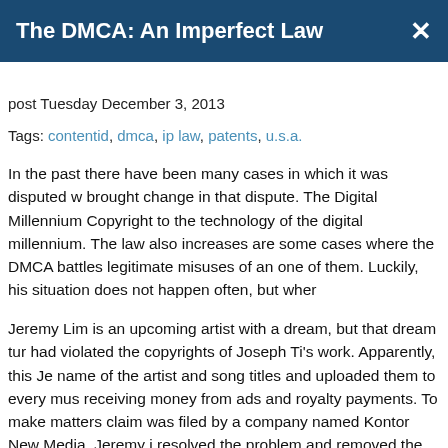The DMCA: An Imperfect Law
post Tuesday December 3, 2013
Tags: contentid, dmca, ip law, patents, u.s.a.
In the past there have been many cases in which it was disputed w... brought change in that dispute. The Digital Millennium Copyright to the technology of the digital millennium. The law also increases are some cases where the DMCA battles legitimate misuses of an one of them. Luckily, his situation does not happen often, but wher
Jeremy Lim is an upcoming artist with a dream, but that dream tur... had violated the copyrights of Joseph Ti's work. Apparently, this Je name of the artist and song titles and uploaded them to every mus receiving money from ads and royalty payments. To make matters claim was filed by a company named Kontor New Media. Jeremy i resolved the problem and removed the offending material.
Although the DMCA was crucial in removing the offending materi